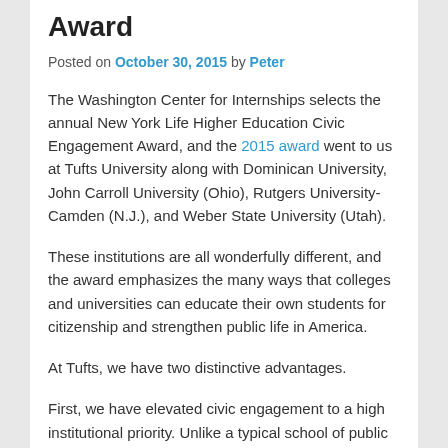Award
Posted on October 30, 2015 by Peter
The Washington Center for Internships selects the annual New York Life Higher Education Civic Engagement Award, and the 2015 award went to us at Tufts University along with Dominican University, John Carroll University (Ohio), Rutgers University-Camden (N.J.), and Weber State University (Utah).
These institutions are all wonderfully different, and the award emphasizes the many ways that colleges and universities can educate their own students for citizenship and strengthen public life in America.
At Tufts, we have two distinctive advantages.
First, we have elevated civic engagement to a high institutional priority. Unlike a typical school of public policy or public affairs, the Tisch College of Citizenship & Public Service at Tufts is charged with reaching all the students